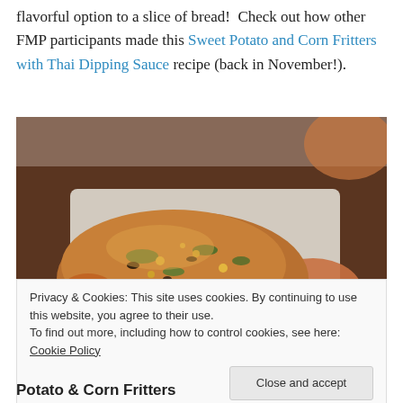flavorful option to a slice of bread!  Check out how other FMP participants made this Sweet Potato and Corn Fritters with Thai Dipping Sauce recipe (back in November!).
[Figure (photo): A close-up photo of golden-brown sweet potato and corn fritters stacked on a white plate, with a reddish-orange dipping sauce visible in the background right, set on a dark wooden surface.]
Privacy & Cookies: This site uses cookies. By continuing to use this website, you agree to their use.
To find out more, including how to control cookies, see here: Cookie Policy
Potato & Corn Fritters